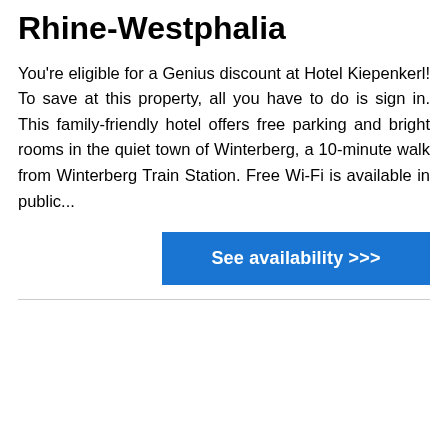Rhine-Westphalia
You're eligible for a Genius discount at Hotel Kiepenkerl! To save at this property, all you have to do is sign in. This family-friendly hotel offers free parking and bright rooms in the quiet town of Winterberg, a 10-minute walk from Winterberg Train Station. Free Wi-Fi is available in public...
[Figure (other): Blue button labeled 'See availability >>>']